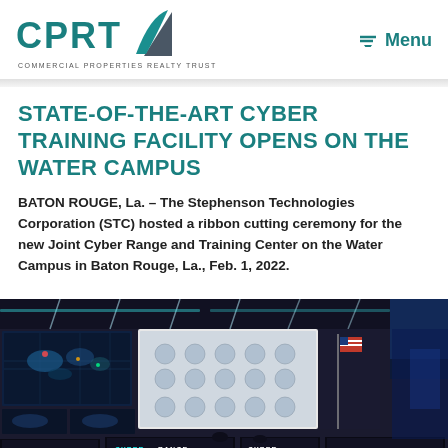[Figure (logo): CPRT Commercial Properties Realty Trust logo with teal sail graphic]
Menu
STATE-OF-THE-ART CYBER TRAINING FACILITY OPENS ON THE WATER CAMPUS
BATON ROUGE, La. – The Stephenson Technologies Corporation (STC) hosted a ribbon cutting ceremony for the new Joint Cyber Range and Training Center on the Water Campus in Baton Rouge, La., Feb. 1, 2022.
[Figure (photo): Interior photo of the Joint Cyber Range and Training Center showing large video walls displaying cybersecurity dashboards and world maps, computer workstations, an American flag, and 'RANGE CYBER' text on multiple screens in a dark high-tech room.]